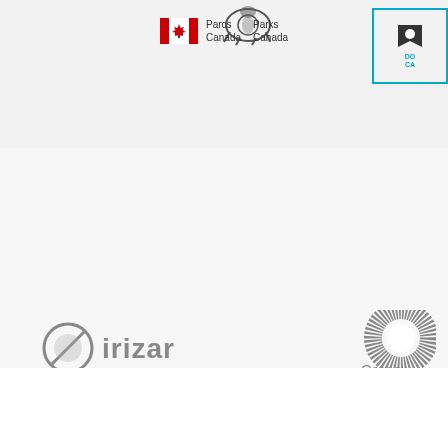[Figure (logo): Animal/creature logo at top center]
[Figure (logo): Parks Canada logo with Canadian maple leaf flag and text 'Parcs Canada / Parks Canada']
[Figure (logo): Donate/camera icon box with blue border, top right]
[Figure (logo): Irizar company logo in gray]
[Figure (logo): Orona Fundazioa logo]
[Figure (logo): Albaola - Basque Maritime Heritage Association logo]
Albaola © 2013 | Corporate
Albaola Faktoria, Ondartxo
Tfno: (+34)943 39 24 26 | F